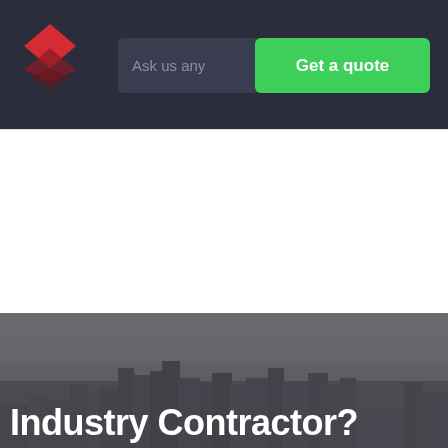[Figure (logo): Red diamond/rhombus shaped logo in the top-left of dark navigation bar]
Ask us any
Get a quote
[Figure (photo): Aerial cityscape photograph of a large city (London) skyline with hazy atmosphere, taken from a high vantage point showing skyscrapers and urban sprawl]
Industry Contractor?